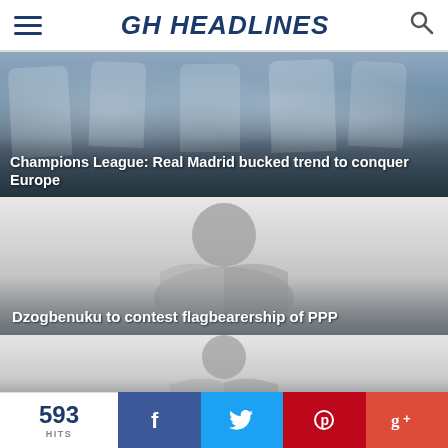GH HEADLINES
[Figure (photo): Real Madrid players celebrating with medals, group photo]
Champions League: Real Madrid bucked trend to conquer Europe
[Figure (illustration): Placeholder person/reader icon on gray background]
Dzogbenuku to contest flagbearership of PPP
[Figure (illustration): Placeholder person/reader icon on gray background]
Chelsea defeat Everton in scrappy contest
593 HITS